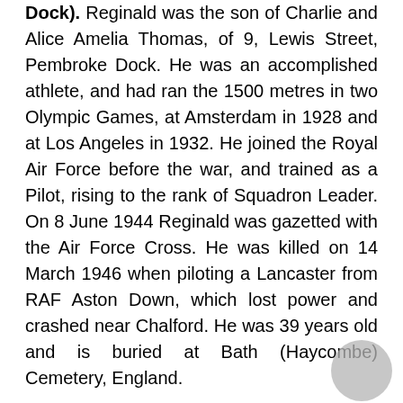Dock). Reginald was the son of Charlie and Alice Amelia Thomas, of 9, Lewis Street, Pembroke Dock. He was an accomplished athlete, and had ran the 1500 metres in two Olympic Games, at Amsterdam in 1928 and at Los Angeles in 1932. He joined the Royal Air Force before the war, and trained as a Pilot, rising to the rank of Squadron Leader. On 8 June 1944 Reginald was gazetted with the Air Force Cross. He was killed on 14 March 1946 when piloting a Lancaster from RAF Aston Down, which lost power and crashed near Chalford. He was 39 years old and is buried at Bath (Haycombe) Cemetery, England.
William Henry Thomas, MID, Seaman, LT/JX 186620, Royal Naval Patrol Service. (Milford). William was the son of Frederick and Lilian Thomas, of Milford Haven. He married Florence